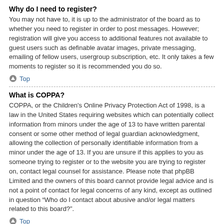Why do I need to register?
You may not have to, it is up to the administrator of the board as to whether you need to register in order to post messages. However; registration will give you access to additional features not available to guest users such as definable avatar images, private messaging, emailing of fellow users, usergroup subscription, etc. It only takes a few moments to register so it is recommended you do so.
Top
What is COPPA?
COPPA, or the Children's Online Privacy Protection Act of 1998, is a law in the United States requiring websites which can potentially collect information from minors under the age of 13 to have written parental consent or some other method of legal guardian acknowledgment, allowing the collection of personally identifiable information from a minor under the age of 13. If you are unsure if this applies to you as someone trying to register or to the website you are trying to register on, contact legal counsel for assistance. Please note that phpBB Limited and the owners of this board cannot provide legal advice and is not a point of contact for legal concerns of any kind, except as outlined in question “Who do I contact about abusive and/or legal matters related to this board?”.
Top
Why can't I register?